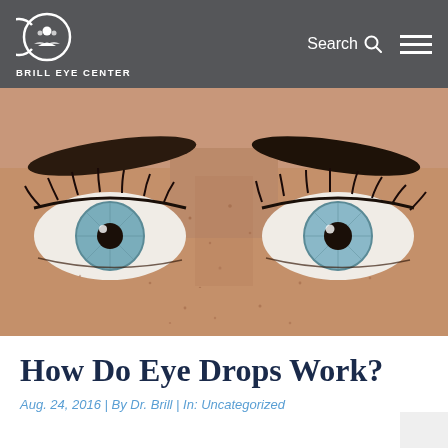BRILL EYE CENTER
[Figure (photo): Close-up photo of a woman's eyes with blue irises, dark eyebrows, and freckled skin]
How Do Eye Drops Work?
Aug. 24, 2016 | By Dr. Brill | In: Uncategorized